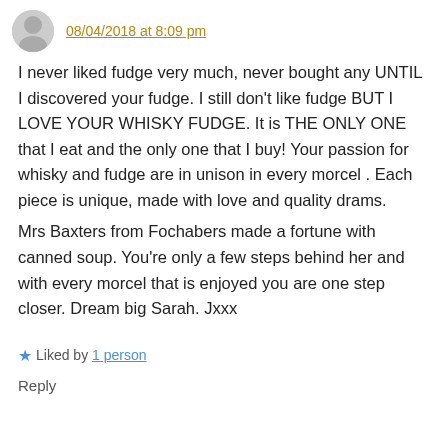08/04/2018 at 8:09 pm
I never liked fudge very much, never bought any UNTIL I discovered your fudge. I still don't like fudge BUT I LOVE YOUR WHISKY FUDGE. It is THE ONLY ONE that I eat and the only one that I buy! Your passion for whisky and fudge are in unison in every morcel . Each piece is unique, made with love and quality drams.
Mrs Baxters from Fochabers made a fortune with canned soup. You're only a few steps behind her and with every morcel that is enjoyed you are one step closer. Dream big Sarah. Jxxx
Liked by 1 person
Reply